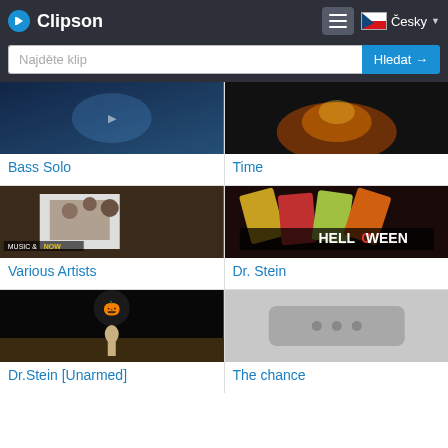Clipson
Najděte klip
Hledat →
[Figure (screenshot): Thumbnail image for Bass Solo clip — blue underwater/dark scene]
Bass Solo
[Figure (screenshot): Thumbnail image for Time clip — dark background with flame/fire]
Time
[Figure (screenshot): Thumbnail image for Various Artists clip — Music & NOW show, group of people]
Various Artists
[Figure (screenshot): Thumbnail image for Dr. Stein clip — Helloween band, Dr. Stein text]
Dr. Stein
[Figure (screenshot): Thumbnail image for Dr.Stein [Unarmed] — album cover with figure in desert]
Dr.Stein [Unarmed]
[Figure (screenshot): Thumbnail placeholder — grey box with three dots (loading)]
The chance